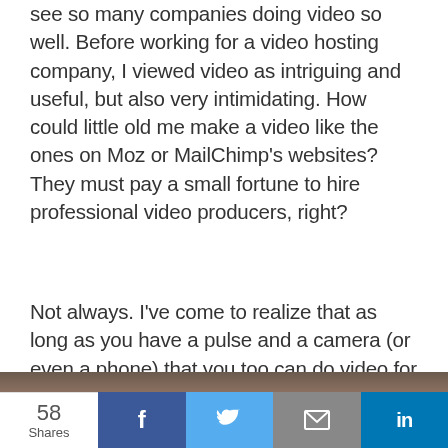see so many companies doing video so well. Before working for a video hosting company, I viewed video as intriguing and useful, but also very intimidating. How could little old me make a video like the ones on Moz or MailChimp's websites? They must pay a small fortune to hire professional video producers, right?
Not always. I've come to realize that as long as you have a pulse and a camera (or even a phone) that you too can do video for your business.
[Figure (photo): Partial image visible at the bottom of the article, showing a dark brownish scene (cropped)]
58 Shares | Facebook share | Twitter share | Email share | LinkedIn share